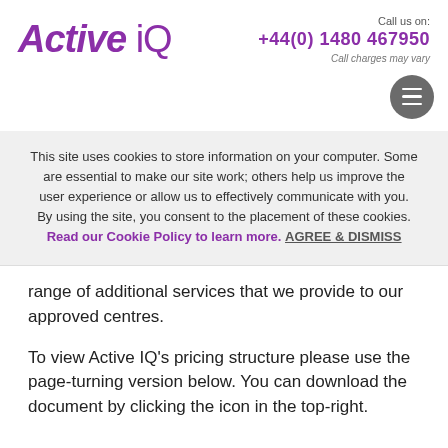Active IQ | Call us on: +44(0) 1480 467950 | Call charges may vary
This site uses cookies to store information on your computer. Some are essential to make our site work; others help us improve the user experience or allow us to effectively communicate with you. By using the site, you consent to the placement of these cookies. Read our Cookie Policy to learn more. AGREE & DISMISS
range of additional services that we provide to our approved centres.
To view Active IQ's pricing structure please use the page-turning version below. You can download the document by clicking the icon in the top-right.